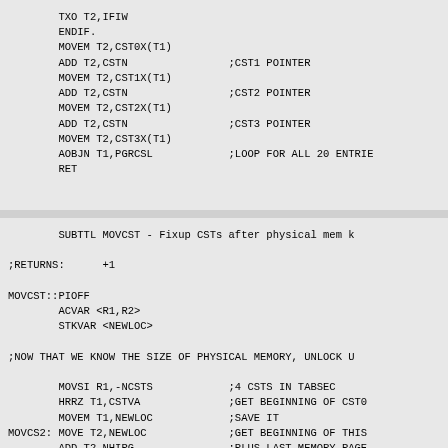TXO T2,IFIW
ENDIF.
MOVEM T2,CST0X(T1)
ADD T2,CSTN                ;CST1 POINTER
MOVEM T2,CST1X(T1)
ADD T2,CSTN                ;CST2 POINTER
MOVEM T2,CST2X(T1)
ADD T2,CSTN                ;CST3 POINTER
MOVEM T2,CST3X(T1)
AOBJN T1,PGRCSL            ;LOOP FOR ALL 20 ENTRIES
RET
SUBTTL MOVCST - Fixup CSTs after physical mem k

;RETURNS:      +1

MOVCST::PIOFF
        ACVAR <R1,R2>
        STKVAR <NEWLOC>

;NOW THAT WE KNOW THE SIZE OF PHYSICAL MEMORY, UNLOCK U

        MOVSI R1,-NCSTS            ;4 CSTS IN TABSEC
        HRRZ T1,CSTVA              ;GET BEGINNING OF CST0
        MOVEM T1,NEWLOC            ;SAVE IT
MOVCS2: MOVE T2,NEWLOC             ;GET BEGINNING OF THIS
        ADD T2,NHIPG               ;PLUS LAST MEMORY PAGE
        ADDI T2,777                ;MOVE TO NEXT ENTRY
        ...                        ;GET LAST NUMBER